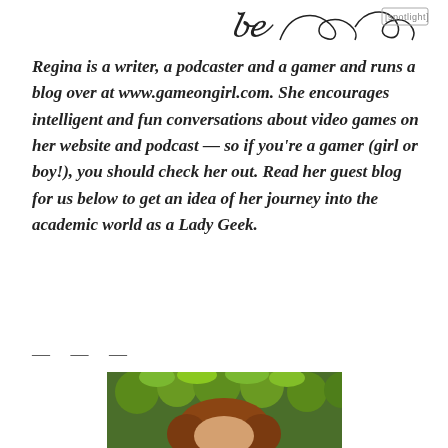[spotlight]
Regina is a writer, a podcaster and a gamer and runs a blog over at www.gameongirl.com. She encourages intelligent and fun conversations about video games on her website and podcast — so if you're a gamer (girl or boy!), you should check her out. Read her guest blog for us below to get an idea of her journey into the academic world as a Lady Geek.
— — —
[Figure (photo): Photo of a woman with reddish-brown hair outdoors surrounded by green spiky plants]